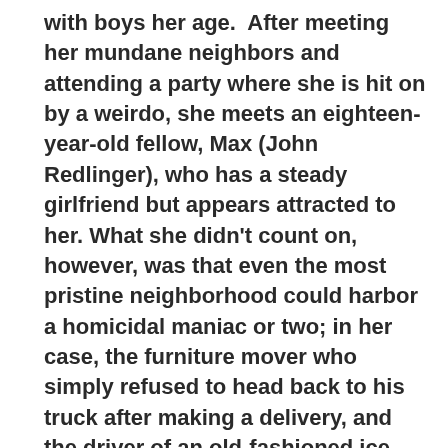with boys her age.  After meeting her mundane neighbors and attending a party where she is hit on by a weirdo, she meets an eighteen-year-old fellow, Max (John Redlinger), who has a steady girlfriend but appears attracted to her. What she didn't count on, however, was that even the most pristine neighborhood could harbor a homicidal maniac or two; in her case, the furniture mover who simply refused to head back to his truck after making a delivery, and the driver of an old-fashioned ice cream truck (Emily Johnsen), whose hobby is to lure unsuspecting customers into his truck and deliver cuts of a knife along